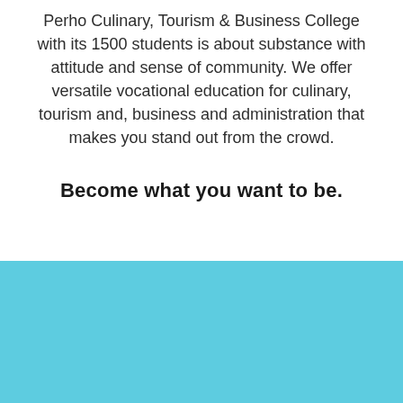Perho Culinary, Tourism & Business College with its 1500 students is about substance with attitude and sense of community. We offer versatile vocational education for culinary, tourism and, business and administration that makes you stand out from the crowd.
Become what you want to be.
[Figure (other): Solid teal/light blue background section filling the bottom portion of the page]